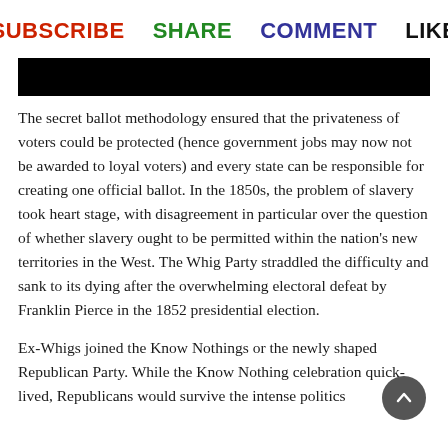SUBSCRIBE  SHARE  COMMENT  LIKE
[Figure (other): Black redacted image bar]
The secret ballot methodology ensured that the privateness of voters could be protected (hence government jobs may now not be awarded to loyal voters) and every state can be responsible for creating one official ballot. In the 1850s, the problem of slavery took heart stage, with disagreement in particular over the question of whether slavery ought to be permitted within the nation's new territories in the West. The Whig Party straddled the difficulty and sank to its dying after the overwhelming electoral defeat by Franklin Pierce in the 1852 presidential election.
Ex-Whigs joined the Know Nothings or the newly shaped Republican Party. While the Know Nothing celebration quick-lived, Republicans would survive the intense politics